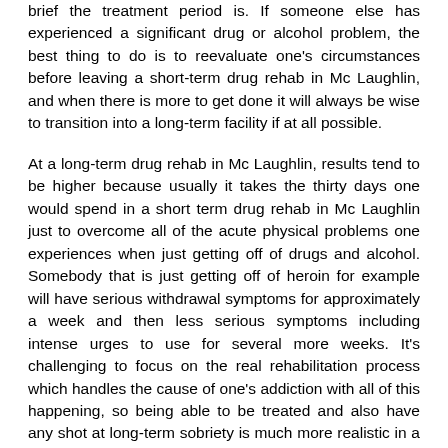brief the treatment period is. If someone else has experienced a significant drug or alcohol problem, the best thing to do is to reevaluate one's circumstances before leaving a short-term drug rehab in Mc Laughlin, and when there is more to get done it will always be wise to transition into a long-term facility if at all possible.
At a long-term drug rehab in Mc Laughlin, results tend to be higher because usually it takes the thirty days one would spend in a short term drug rehab in Mc Laughlin just to overcome all of the acute physical problems one experiences when just getting off of drugs and alcohol. Somebody that is just getting off of heroin for example will have serious withdrawal symptoms for approximately a week and then less serious symptoms including intense urges to use for several more weeks. It's challenging to focus on the real rehabilitation process which handles the cause of one's addiction with all of this happening, so being able to be treated and also have any shot at long-term sobriety is much more realistic in a long-term Mc Laughlin drug rehab. So following detox and after conquering the withdrawal symptoms, individuals in a long-term drug rehab in Mc Laughlin can take part in treatment services which can deal with the